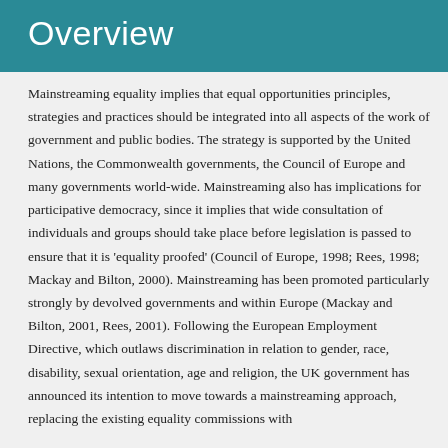Overview
Mainstreaming equality implies that equal opportunities principles, strategies and practices should be integrated into all aspects of the work of government and public bodies. The strategy is supported by the United Nations, the Commonwealth governments, the Council of Europe and many governments world-wide. Mainstreaming also has implications for participative democracy, since it implies that wide consultation of individuals and groups should take place before legislation is passed to ensure that it is 'equality proofed' (Council of Europe, 1998; Rees, 1998; Mackay and Bilton, 2000). Mainstreaming has been promoted particularly strongly by devolved governments and within Europe (Mackay and Bilton, 2001, Rees, 2001). Following the European Employment Directive, which outlaws discrimination in relation to gender, race, disability, sexual orientation, age and religion, the UK government has announced its intention to move towards a mainstreaming approach, replacing the existing equality commissions with